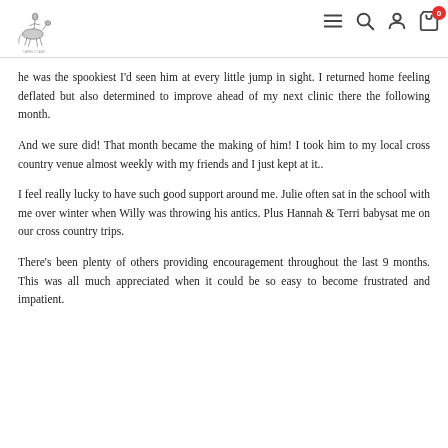Navigation header with logo and icons
he was the spookiest I'd seen him at every little jump in sight. I returned home feeling deflated but also determined to improve ahead of my next clinic there the following month.
And we sure did! That month became the making of him! I took him to my local cross country venue almost weekly with my friends and I just kept at it..
I feel really lucky to have such good support around me. Julie often sat in the school with me over winter when Willy was throwing his antics. Plus Hannah & Terri babysat me on our cross country trips.
There's been plenty of others providing encouragement throughout the last 9 months. This was all much appreciated when it could be so easy to become frustrated and impatient.